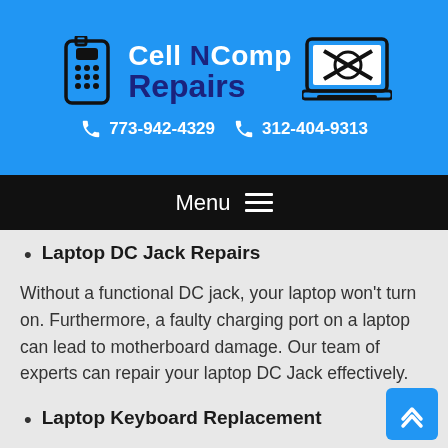[Figure (logo): Cell N Comp Repairs logo with phone and laptop icons on blue background, phone numbers 773-942-4329 and 312-404-9313]
Menu
Laptop DC Jack Repairs
Without a functional DC jack, your laptop won't turn on. Furthermore, a faulty charging port on a laptop can lead to motherboard damage. Our team of experts can repair your laptop DC Jack effectively.
Laptop Keyboard Replacement
Over time, due to regular usage of the keyboard, it may face considerable wear and tear, leading to unfunctional keys, connection problems, or physical damage. Finding the right replacement keywords